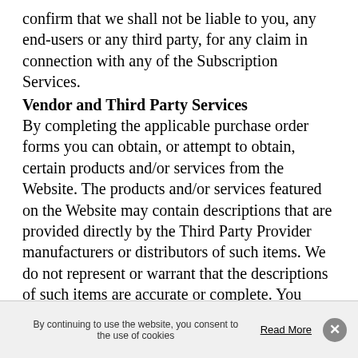confirm that we shall not be liable to you, any end-users or any third party, for any claim in connection with any of the Subscription Services.
Vendor and Third Party Services
By completing the applicable purchase order forms you can obtain, or attempt to obtain, certain products and/or services from the Website. The products and/or services featured on the Website may contain descriptions that are provided directly by the Third Party Provider manufacturers or distributors of such items. We do not represent or warrant that the descriptions of such items are accurate or complete. You hereby understand and agree that we are not responsible or liable in any manner whatsoever for your inability to obtain products and/or services from the Website or for any dispute with the product's seller, distributor and end-user consumers. You understand and
By continuing to use the website, you consent to the use of cookies